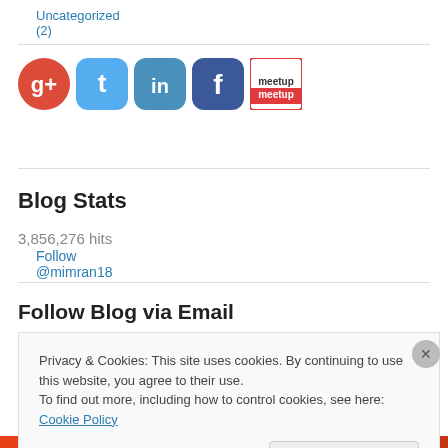Uncategorized (2)
[Figure (logo): Social media icons: Google+, Twitter, LinkedIn, Facebook, Meetup]
Follow @mimran18
Blog Stats
3,856,276 hits
Follow Blog via Email
Privacy & Cookies: This site uses cookies. By continuing to use this website, you agree to their use.
To find out more, including how to control cookies, see here: Cookie Policy
Close and accept